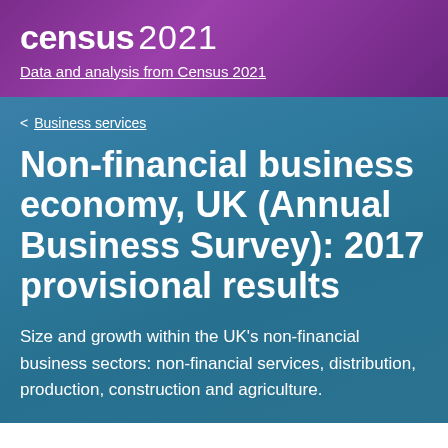census 2021
Data and analysis from Census 2021
< Business services
Non-financial business economy, UK (Annual Business Survey): 2017 provisional results
Size and growth within the UK's non-financial business sectors: non-financial services, distribution, production, construction and agriculture.